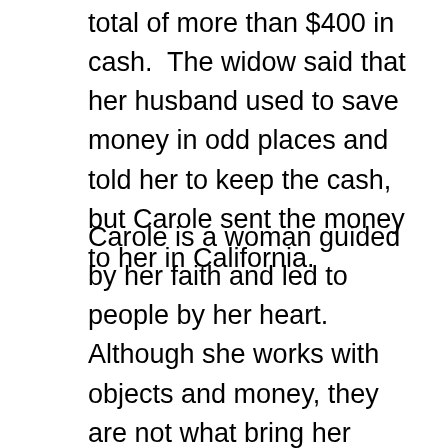total of more than $400 in cash.  The widow said that her husband used to save money in odd places and told her to keep the cash, but Carole sent the money to her in California.
Carole is a woman guided by her faith and led to people by her heart. Although she works with objects and money, they are not what bring her happiness. Instead, it is the unexpected, unexplained moments shared with clients that are the most fulfilling aspects of her business. The secret stories behind an old photograph or dusty wedding veil are the true treasures of her profession